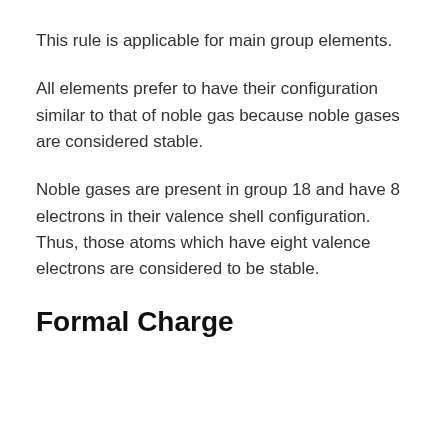This rule is applicable for main group elements.
All elements prefer to have their configuration similar to that of noble gas because noble gases are considered stable.
Noble gases are present in group 18 and have 8 electrons in their valence shell configuration. Thus, those atoms which have eight valence electrons are considered to be stable.
Formal Charge